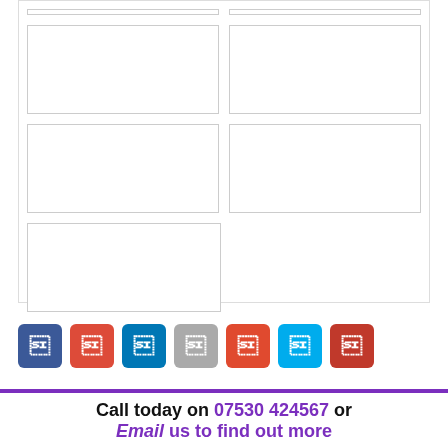[Figure (other): Grid layout of empty image placeholder boxes arranged in 3 rows: row 1 has 2 boxes, row 2 has 2 boxes, row 3 has 1 box on the left]
[Figure (other): Row of 7 social media icon buttons: Facebook (blue), Google+ (red), LinkedIn (blue), grey icon, orange icon, Twitter (light blue), red icon]
Call today on 07530 424567 or Email us to find out more